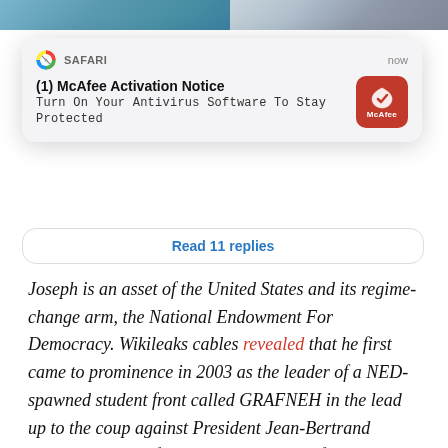[Figure (photo): Photo strip at top showing two people, partially cropped]
[Figure (screenshot): Safari browser notification popup: '(1) McAfee Activation Notice - Turn On Your Antivirus Software To Stay Protected' with McAfee red icon, timestamp 'now']
Read 11 replies
Joseph is an asset of the United States and its regime-change arm, the National Endowment For Democracy. Wikileaks cables revealed that he first came to prominence in 2003 as the leader of a NED-spawned student front called GRAFNEH in the lead up to the coup against President Jean-Bertrand Aristide. He also founded another NED-funded anti-Aristide group Initiative Citoyenne (Citizens' Initiative). He is reported by Haitian radio stations to have been, with prominent Haitian ex-Deputy Gary